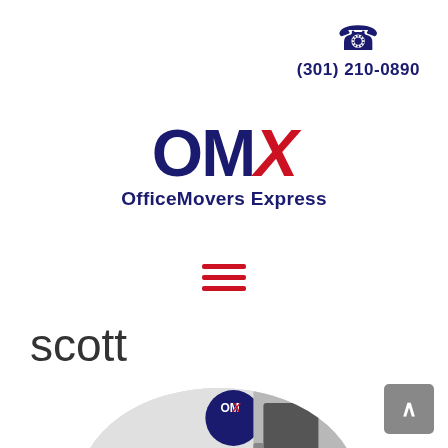(301) 210-0890
[Figure (logo): OMX Office Movers Express logo with blue OM and red italic X, and tagline 'OfficeMoversExpress' in blue]
[Figure (infographic): Hamburger menu icon — three horizontal red lines]
scott
[Figure (photo): Circular cropped photo showing an Office Movers Express truck cab and side panel with 'Movers Express' text and logo]